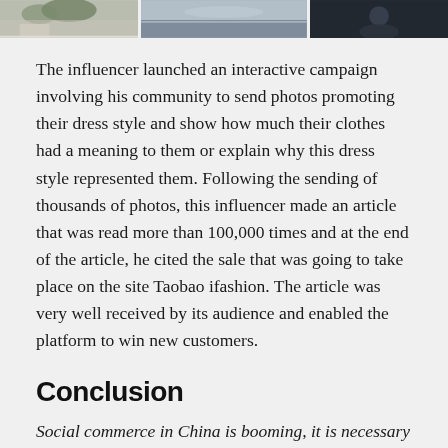[Figure (photo): Three cropped photos side by side at the top of the page: left shows a person near trees, middle shows a landscape/water scene, right shows a dark portrait.]
The influencer launched an interactive campaign involving his community to send photos promoting their dress style and show how much their clothes had a meaning to them or explain why this dress style represented them. Following the sending of thousands of photos, this influencer made an article that was read more than 100,000 times and at the end of the article, he cited the sale that was going to take place on the site Taobao ifashion. The article was very well received by its audience and enabled the platform to win new customers.
Conclusion
Social commerce in China is booming, it is necessary